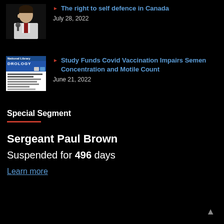The right to self defence in Canada — July 28, 2022
[Figure (photo): Thumbnail photo of a man speaking at a microphone]
Study Funds Covid Vaccination Impairs Semen Concentration and Motile Count — June 21, 2022
[Figure (screenshot): Thumbnail screenshot of a scientific study document with blue header reading ROLOGY]
Special Segment
Sergeant Paul Brown
Suspended for 496 days
Learn more